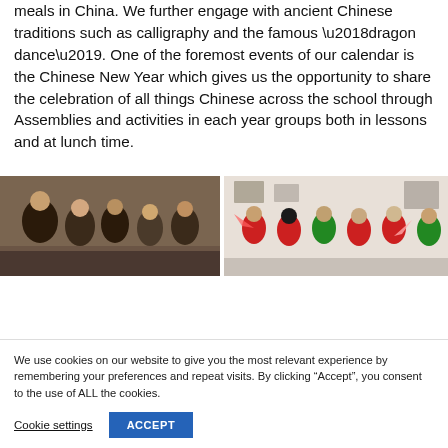meals in China. We further engage with ancient Chinese traditions such as calligraphy and the famous ‘dragon dance’. One of the foremost events of our calendar is the Chinese New Year which gives us the opportunity to share the celebration of all things Chinese across the school through Assemblies and activities in each year groups both in lessons and at lunch time.
[Figure (photo): Group of students and adults engaged in an activity, shown in a school corridor setting]
[Figure (photo): Group of performers in red and green traditional Chinese costumes holding fans, standing in front of a wall with pictures]
We use cookies on our website to give you the most relevant experience by remembering your preferences and repeat visits. By clicking “Accept”, you consent to the use of ALL the cookies.